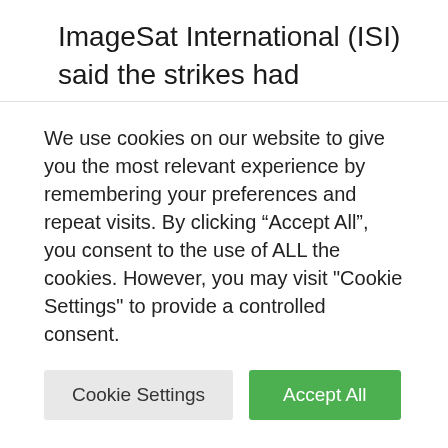ImageSat International (ISI) said the strikes had “completely disrupted” operations on the asphalt. It appeared that each runway was bombed three times.
Separate rocket attacks in April and May damaged other parts of one of the runways in attacks caused by Israel. According to the CIA, these attacks significantly shortened the
We use cookies on our website to give you the most relevant experience by remembering your preferences and repeat visits. By clicking “Accept All”, you consent to the use of ALL the cookies. However, you may visit "Cookie Settings" to provide a controlled consent.